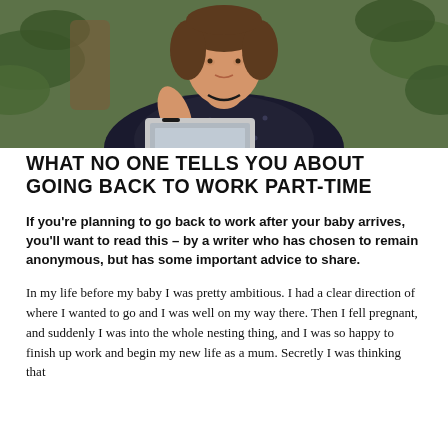[Figure (photo): Woman in dark polka-dot dress sitting at a laptop computer, with green plants in the background. Photo is cropped to show her from the shoulders up.]
WHAT NO ONE TELLS YOU ABOUT GOING BACK TO WORK PART-TIME
If you’re planning to go back to work after your baby arrives, you’ll want to read this – by a writer who has chosen to remain anonymous, but has some important advice to share.
In my life before my baby I was pretty ambitious. I had a clear direction of where I wanted to go and I was well on my way there. Then I fell pregnant, and suddenly I was into the whole nesting thing, and I was so happy to finish up work and begin my new life as a mum. Secretly I was thinking that